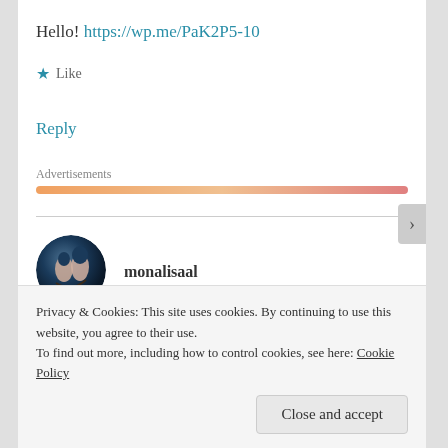Hello! https://wp.me/PaK2P5-10
★ Like
Reply
Advertisements
monalisaal
Privacy & Cookies: This site uses cookies. By continuing to use this website, you agree to their use.
To find out more, including how to control cookies, see here: Cookie Policy
Close and accept